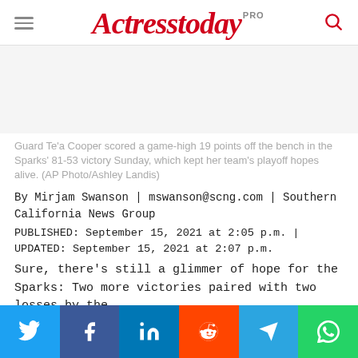Actresstoday PRO
[Figure (photo): Blank image placeholder area for article photo]
Guard Te'a Cooper scored a game-high 19 points off the bench in the Sparks' 81-53 victory Sunday, which kept her team's playoff hopes alive. (AP Photo/Ashley Landis)
By Mirjam Swanson | mswanson@scng.com | Southern California News Group
PUBLISHED: September 15, 2021 at 2:05 p.m. | UPDATED: September 15, 2021 at 2:07 p.m.
Sure, there’s still a glimmer of hope for the Sparks: Two more victories paired with two losses by the
Twitter | Facebook | LinkedIn | Reddit | Telegram | WhatsApp